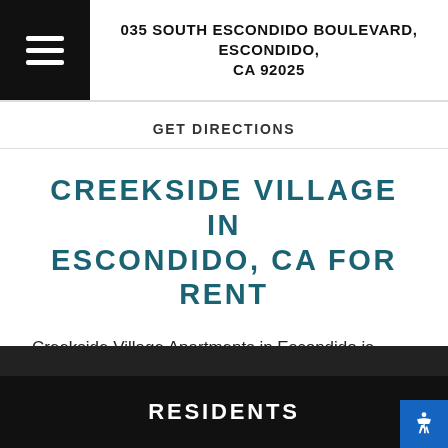035 SOUTH ESCONDIDO BOULEVARD, ESCONDIDO, CA 92025
GET DIRECTIONS
CREEKSIDE VILLAGE IN ESCONDIDO, CA FOR RENT
Creekside Village Apartments in Escondido is ideally situated to give you easy access to the best of what the area has to offer. Browse the categories for local services and attractions near you.
RESIDENTS